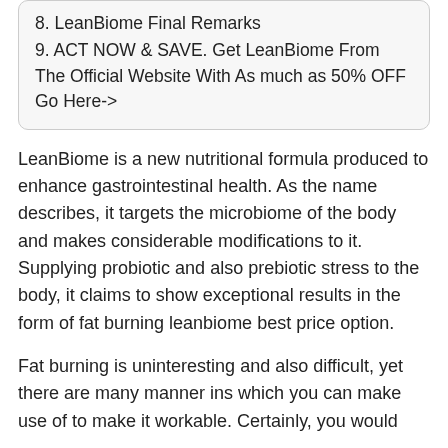8. LeanBiome Final Remarks
9. ACT NOW & SAVE. Get LeanBiome From The Official Website With As much as 50% OFF Go Here->
LeanBiome is a new nutritional formula produced to enhance gastrointestinal health. As the name describes, it targets the microbiome of the body and makes considerable modifications to it. Supplying probiotic and also prebiotic stress to the body, it claims to show exceptional results in the form of fat burning leanbiome best price option.
Fat burning is uninteresting and also difficult, yet there are many manner ins which you can make use of to make it workable. Certainly, you would